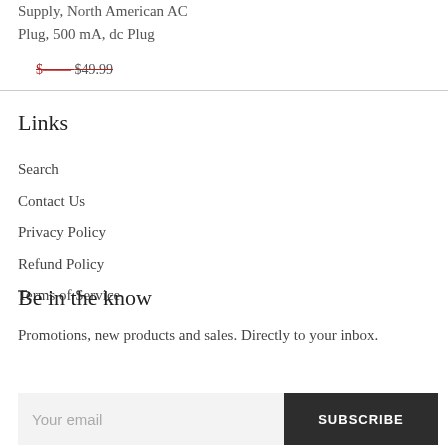Supply, North American AC Plug, 500 mA, dc Plug
$49.99
Links
Search
Contact Us
Privacy Policy
Refund Policy
Terms of Service
Be in the know
Promotions, new products and sales. Directly to your inbox.
Your email  SUBSCRIBE